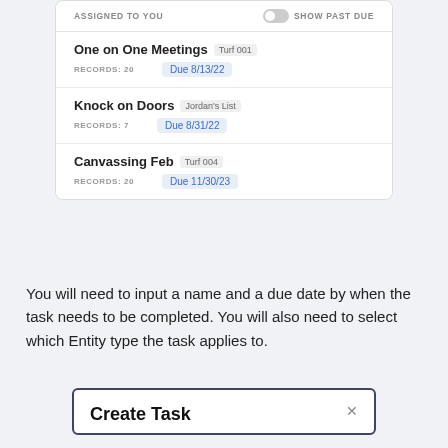[Figure (screenshot): Mobile app screenshot showing a task list with toggle for 'Assigned to You' and 'Show Past Due'. Three task items: 'One on One Meetings Turf 001, RECORDS: 20, Due 8/13/22'; 'Knock on Doors Jordan's List, RECORDS: 7, Due 8/31/22'; 'Canvassing Feb Turf 004, RECORDS: 20, Due 11/30/23'.]
You will need to input a name and a due date by when the task needs to be completed. You will also need to select which Entity type the task applies to.
[Figure (screenshot): Create Task dialog box with title 'Create Task' and a close (×) button in the top right corner.]